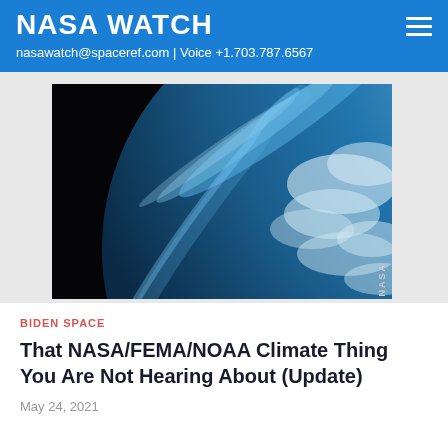NASA WATCH
nasawatch@spaceref.com | Voice +1.703.787.6567
[Figure (photo): Aerial/orbital photograph of Earth from space showing the curved blue atmosphere and cloud-covered surface against black space background, with NASA watermark.]
BIDEN SPACE
That NASA/FEMA/NOAA Climate Thing You Are Not Hearing About (Update)
May 24, 2021